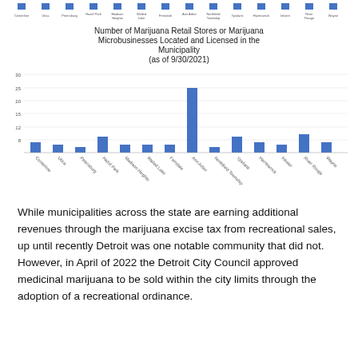[Figure (bar-chart): Number of Marijuana Retail Stores or Marijuana Microbusinesses Located and Licensed in the Municipality (as of 9/30/2021)]
While municipalities across the state are earning additional revenues through the marijuana excise tax from recreational sales, up until recently Detroit was one notable community that did not. However, in April of 2022 the Detroit City Council approved medicinal marijuana to be sold within the city limits through the adoption of a recreational ordinance.